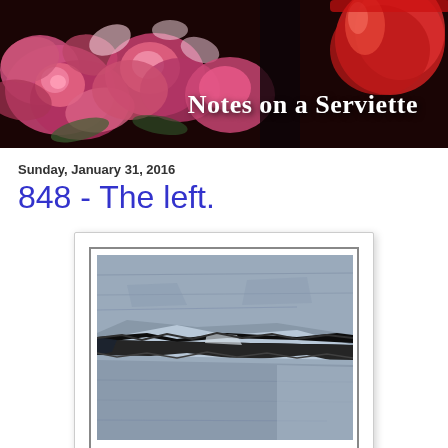[Figure (photo): Blog header banner with pink roses and a red wine glass on a dark background, with the text 'Notes on a Serviette' in white serif font]
Sunday, January 31, 2016
848 - The left.
[Figure (photo): Close-up photograph of cracked stone or slate rock, showing a deep rift/fracture splitting the rock into two pieces, with a blue-grey color palette]